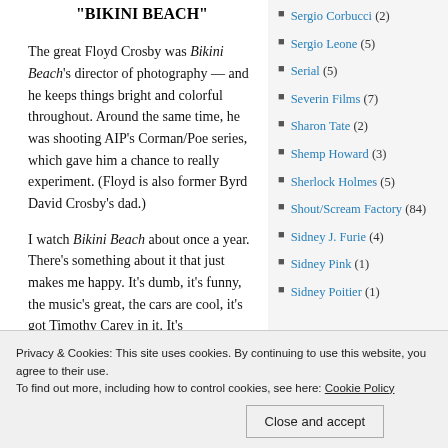"BIKINI BEACH"
The great Floyd Crosby was Bikini Beach's director of photography — and he keeps things bright and colorful throughout. Around the same time, he was shooting AIP's Corman/Poe series, which gave him a chance to really experiment. (Floyd is also former Byrd David Crosby's dad.)
I watch Bikini Beach about once a year. There's something about it that just makes me happy. It's dumb, it's funny, the music's great, the cars are cool, it's got Timothy Carey in it. It's
Sergio Corbucci (2)
Sergio Leone (5)
Serial (5)
Severin Films (7)
Sharon Tate (2)
Shemp Howard (3)
Sherlock Holmes (5)
Shout/Scream Factory (84)
Sidney J. Furie (4)
Sidney Pink (1)
Sidney Poitier (1)
Privacy & Cookies: This site uses cookies. By continuing to use this website, you agree to their use. To find out more, including how to control cookies, see here: Cookie Policy
Close and accept